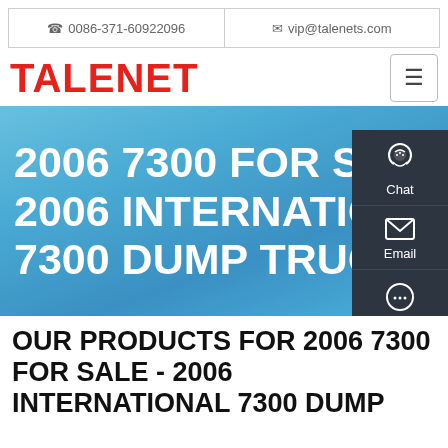☎ 0086-371-60922096   ✉ vip@talenets.com
TALENET
[Figure (screenshot): Hero banner with sky blue gradient background displaying large white bold text: '2006 7300 FOR SALE 2006 INTERNATIONAL 7300 DUMP TRUCKS'. A dark sidebar panel on the right shows Chat, Email, and Contact icons.]
OUR PRODUCTS FOR 2006 7300 FOR SALE - 2006 INTERNATIONAL 7300 DUMP